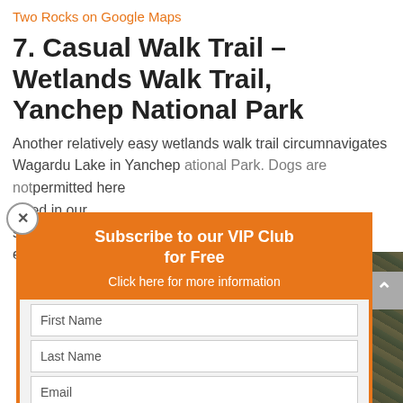Two Rocks on Google Maps
7. Casual Walk Trail – Wetlands Walk Trail, Yanchep National Park
Another relatively easy wetlands walk trail circumnavigates Wagardu Lake in Yanchep National Park. Dogs are not permitted here [...]  well worth the [...] eenyup Swamp.
[Figure (screenshot): Email subscription popup/modal overlay with orange border and header reading 'Subscribe to our VIP Club for Free', subtext 'Click here for more information', input fields for First Name, Last Name, Email, an orange SUBSCRIBE! button, and privacy text at bottom. A close button (x) appears at top-left of the modal.]
[Figure (photo): Partial photo of wetlands vegetation visible in the bottom-right background behind the modal overlay.]